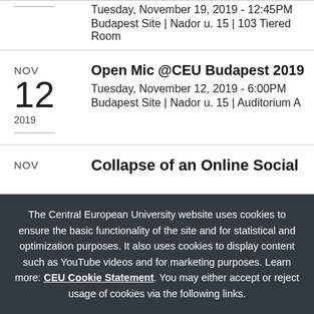Tuesday, November 19, 2019 - 12:45PM
Budapest Site | Nador u. 15 | 103 Tiered Room
Open Mic @CEU Budapest 2019
Tuesday, November 12, 2019 - 6:00PM
Budapest Site | Nador u. 15 | Auditorium A
Collapse of an Online Social
The Central European University website uses cookies to ensure the basic functionality of the site and for statistical and optimization purposes. It also uses cookies to display content such as YouTube videos and for marketing purposes. Learn more: CEU Cookie Statement. You may either accept or reject usage of cookies via the following links.